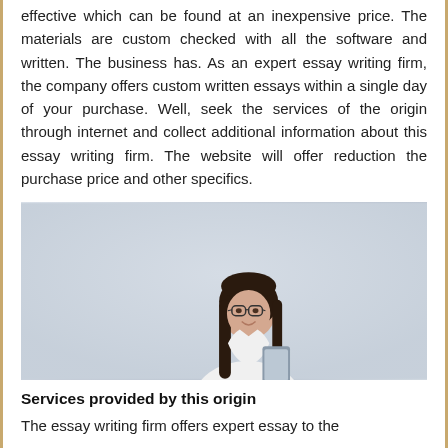effective which can be found at an inexpensive price. The materials are custom checked with all the software and written. The business has. As an expert essay writing firm, the company offers custom written essays within a single day of your purchase. Well, seek the services of the origin through internet and collect additional information about this essay writing firm. The website will offer reduction the purchase price and other specifics.
[Figure (photo): A young woman with long dark hair and glasses, wearing a white blouse, smiling and holding a tablet, photographed against a light grey background.]
Services provided by this origin
The essay writing firm offers expert essay to the